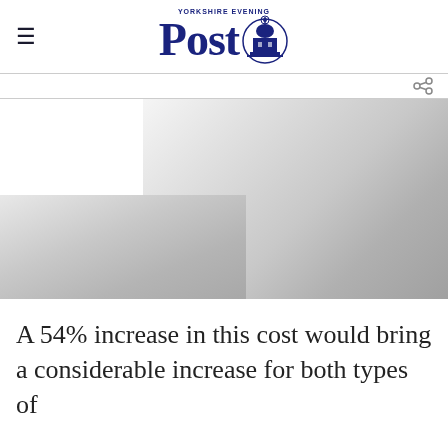≡  YORKSHIRE EVENING Post [emblem]
[Figure (photo): A partially visible photograph with a gradient from white in the upper left to grey in the lower right, typical of a news article image that is partially cropped or faded.]
A 54% increase in this cost would bring a considerable increase for both types of